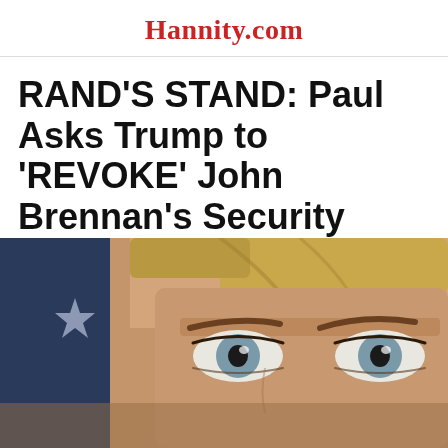Hannity.com
RAND'S STAND: Paul Asks Trump to ‘REVOKE’ John Brennan’s Security Clearance
[Figure (photo): Close-up photo of a person's face (eyes and forehead) with blonde hair, pale skin, and blue-grey eyes. A blurred American flag with a white star is visible on the left side of the background.]